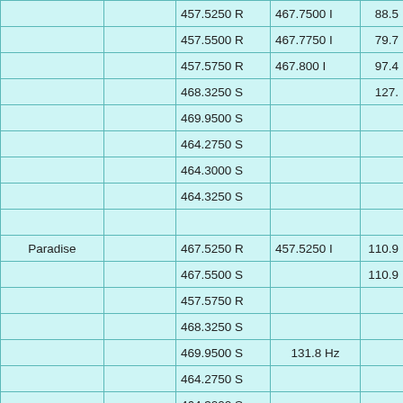|  |  | Frequency 1 | Frequency 2 | Value |
| --- | --- | --- | --- | --- |
|  |  | 457.5250 R | 467.7500 I | 88.5 |
|  |  | 457.5500 R | 467.7750 I | 79.7 |
|  |  | 457.5750 R | 467.800 I | 97.4 |
|  |  | 468.3250 S |  | 127. |
|  |  | 469.9500 S |  |  |
|  |  | 464.2750 S |  |  |
|  |  | 464.3000 S |  |  |
|  |  | 464.3250 S |  |  |
|  |  |  |  |  |
| Paradise |  | 467.5250 R | 457.5250 I | 110.9 |
|  |  | 467.5500 S |  | 110.9 |
|  |  | 457.5750 R |  |  |
|  |  | 468.3250 S |  |  |
|  |  | 469.9500 S | 131.8 Hz |  |
|  |  | 464.2750 S |  |  |
|  |  | 464.3000 S |  |  |
|  |  | 464.3250 S |  |  |
|  |  |  |  |  |
| Pride |  | 457.5500 R | 467.7750 I | 94.8 |